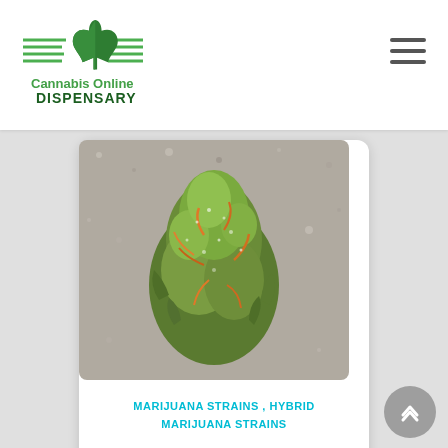[Figure (logo): Cannabis Online Dispensary logo with green cannabis leaf and green horizontal lines]
[Figure (photo): Close-up photo of Casey Jones marijuana bud, green and orange colors, on a grey/white speckled surface]
MARIJUANA STRAINS , HYBRID MARIJUANA STRAINS
Casey Jones
$285.00 – $1,650.00